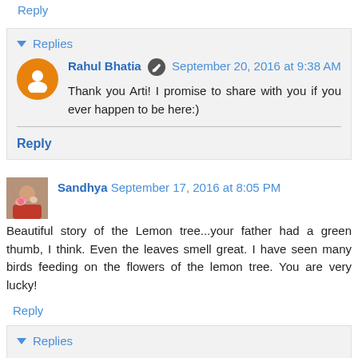Reply
▾ Replies
Rahul Bhatia  September 20, 2016 at 9:38 AM
Thank you Arti! I promise to share with you if you ever happen to be here:)
Reply
Sandhya  September 17, 2016 at 8:05 PM
Beautiful story of the Lemon tree...your father had a green thumb, I think. Even the leaves smell great. I have seen many birds feeding on the flowers of the lemon tree. You are very lucky!
Reply
▾ Replies